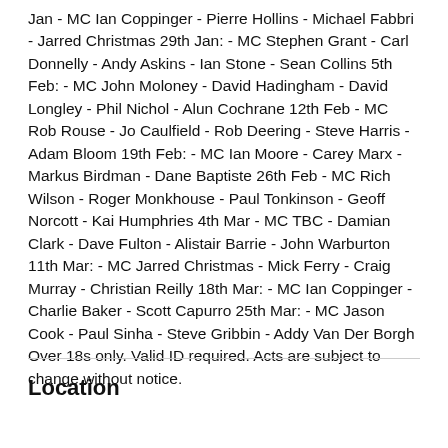Jan - MC Ian Coppinger - Pierre Hollins - Michael Fabbri - Jarred Christmas 29th Jan: - MC Stephen Grant - Carl Donnelly - Andy Askins - Ian Stone - Sean Collins 5th Feb: - MC John Moloney - David Hadingham - David Longley - Phil Nichol - Alun Cochrane 12th Feb - MC Rob Rouse - Jo Caulfield - Rob Deering - Steve Harris - Adam Bloom 19th Feb: - MC Ian Moore - Carey Marx - Markus Birdman - Dane Baptiste 26th Feb - MC Rich Wilson - Roger Monkhouse - Paul Tonkinson - Geoff Norcott - Kai Humphries 4th Mar - MC TBC - Damian Clark - Dave Fulton - Alistair Barrie - John Warburton 11th Mar: - MC Jarred Christmas - Mick Ferry - Craig Murray - Christian Reilly 18th Mar: - MC Ian Coppinger - Charlie Baker - Scott Capurro 25th Mar: - MC Jason Cook - Paul Sinha - Steve Gribbin - Addy Van Der Borgh Over 18s only. Valid ID required. Acts are subject to change without notice.
Location